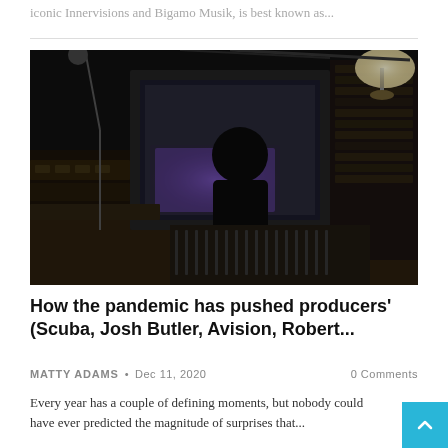iconic Innervisions and Bigamo Musik, is best known as...
[Figure (photo): Person seen from behind sitting at a large studio mixing desk/console surrounded by audio equipment, screens, rack units, and a lamp in a dark recording studio.]
How the pandemic has pushed producers' (Scuba, Josh Butler, Avision, Robert...
MATTY ADAMS • Dec 11, 2020   0 Comments
Every year has a couple of defining moments, but nobody could have ever predicted the magnitude of surprises that...